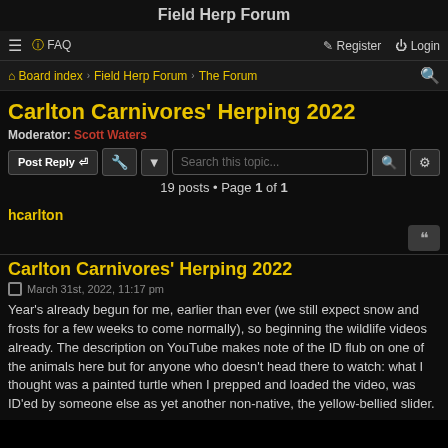Field Herp Forum
≡  FAQ    Register  Login
Board index › Field Herp Forum › The Forum
Carlton Carnivores' Herping 2022
Moderator: Scott Waters
Post Reply  [tools]  Search this topic...  19 posts • Page 1 of 1
hcarlton
Carlton Carnivores' Herping 2022
March 31st, 2022, 11:17 pm
Year's already begun for me, earlier than ever (we still expect snow and frosts for a few weeks to come normally), so beginning the wildlife videos already. The description on YouTube makes note of the ID flub on one of the animals here but for anyone who doesn't head there to watch: what I thought was a painted turtle when I prepped and loaded the video, was ID'ed by someone else as yet another non-native, the yellow-bellied slider.